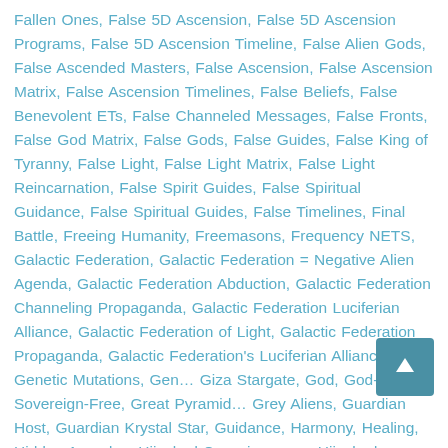Fallen Ones, False 5D Ascension, False 5D Ascension Programs, False 5D Ascension Timeline, False Alien Gods, False Ascended Masters, False Ascension, False Ascension Matrix, False Ascension Timelines, False Beliefs, False Benevolent ETs, False Channeled Messages, False Fronts, False God Matrix, False Gods, False Guides, False King of Tyranny, False Light, False Light Matrix, False Light Reincarnation, False Spirit Guides, False Spiritual Guidance, False Spiritual Guides, False Timelines, Final Battle, Freeing Humanity, Freemasons, Frequency NETS, Galactic Federation, Galactic Federation = Negative Alien Agenda, Galactic Federation Abduction, Galactic Federation Channeling Propaganda, Galactic Federation Luciferian Alliance, Galactic Federation of Light, Galactic Federation Propaganda, Galactic Federation's Luciferian Alliance, Genetic Mutations, Gen… Giza Stargate, God, God-Sovereign-Free, Great Pyramid… Grey Aliens, Guardian Host, Guardian Krystal Star, Guidance, Harmony, Healing, Hidden Agendas, Hijacked Consciousness, Hijacked Timelines, Holographic Inserts, Human Genocide,